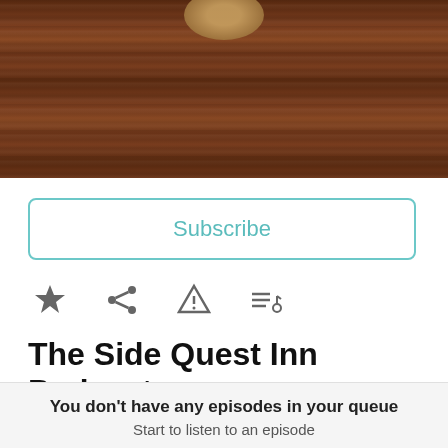[Figure (photo): Dark wood texture background image with a tan/golden colored object visible at the top center]
Subscribe
[Figure (infographic): Row of four icons: star (favorite), share, warning/report, and playlist/queue icons]
The Side Quest Inn Podcast
Publisher | The Side Quest Inn Podcast
Media Type | Audio
Podknife Tags | Board Games, Games & Hobbies, Pathfinder, RPGs, Starfinder
Categories Via RSS | Leisure
You don't have any episodes in your queue
Start to listen to an episode